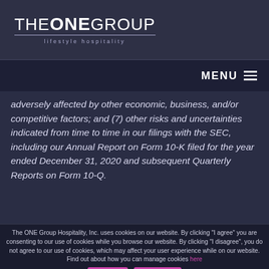THE ONE GROUP lifestyle hospitality
MENU
adversely affected by other economic, business, and/or competitive factors; and (7) other risks and uncertainties indicated from time to time in our filings with the SEC, including our Annual Report on Form 10-K filed for the year ended December 31, 2020 and subsequent Quarterly Reports on Form 10-Q.
The ONE Group Hospitality, Inc. uses cookies on our website. By clicking "I agree" you are consenting to our use of cookies while you browse our website. By clicking "I disagree", you do not agree to our use of cookies, which may affect your user experience while on our website. Find out about how you can manage cookies here